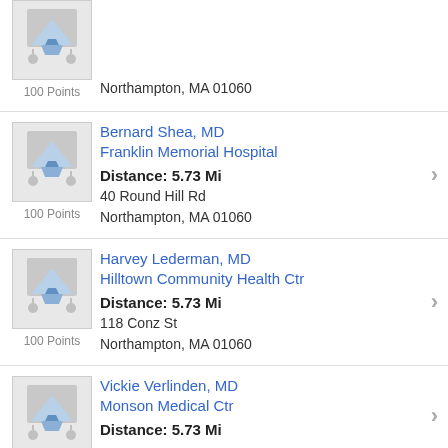100 Points
[address top cut off]
Northampton, MA 01060
Bernard Shea, MD
Franklin Memorial Hospital
Distance: 5.73 Mi
40 Round Hill Rd
Northampton, MA 01060
100 Points
Harvey Lederman, MD
Hilltown Community Health Ctr
Distance: 5.73 Mi
118 Conz St
Northampton, MA 01060
100 Points
Vickie Verlinden, MD
Monson Medical Ctr
Distance: 5.73 Mi